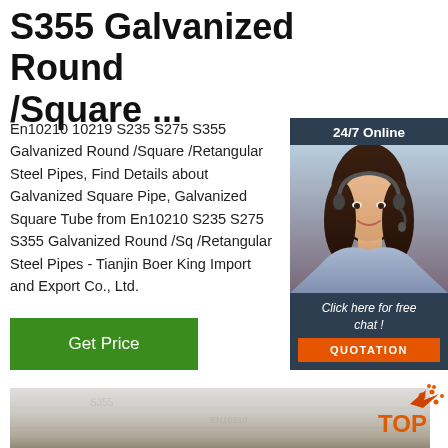S355 Galvanized Round /Square ...
En10210 10219 S235 S275 S355 Galvanized Round /Square /Retangular Steel Pipes, Find Details about Galvanized Square Pipe, Galvanized Square Tube from En10210 S235 S275 S355 Galvanized Round /Sq /Retangular Steel Pipes - Tianjin Boer King Import and Export Co., Ltd.
[Figure (other): Green Get Price button]
[Figure (photo): Customer service representative with headset, 24/7 Online chat widget with dark background, orange QUOTATION button]
[Figure (photo): Steel pipes product image, light gray surface]
[Figure (logo): Orange TOP logo with dots]